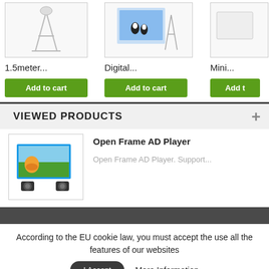[Figure (photo): Product image placeholder for 1.5meter item]
[Figure (photo): Product image placeholder for Digital item, showing a poster/photo print]
[Figure (photo): Partially visible product image for Mini item]
1.5meter...
Digital...
Mini...
Add to cart
Add to cart
Add t
VIEWED PRODUCTS
[Figure (photo): Open Frame AD Player product image showing a landscape display with speakers]
Open Frame AD Player
Open Frame AD Player. Support...
According to the EU cookie law, you must accept the use all the features of our websites
I Accept
More Information